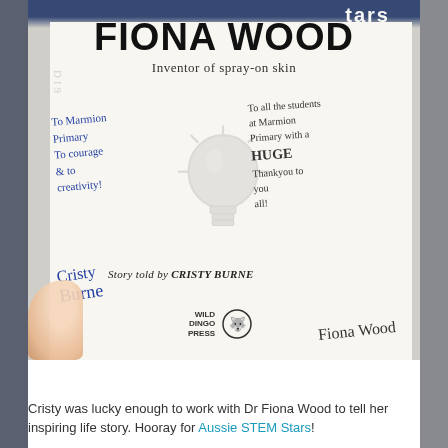[Figure (photo): A photograph of the title page of a book called 'FIONA WOOD: Inventor of spray-on skin, Story told by CRISTY BURNE', published by Wild Dingo Press. The page is signed with handwritten dedications in blue ink reading 'To Marmion Primary, To courage & to creativity!' on the left side, and 'To all the students at Marmion Primary with a HUGE Thankyou to you all!' on the right side, along with signatures from Cristy Burne and Fiona Wood. A lightbulb graphic is visible in the center of the page.]
Cristy was lucky enough to work with Dr Fiona Wood to tell her inspiring life story. Hooray for Aussie STEM Stars!